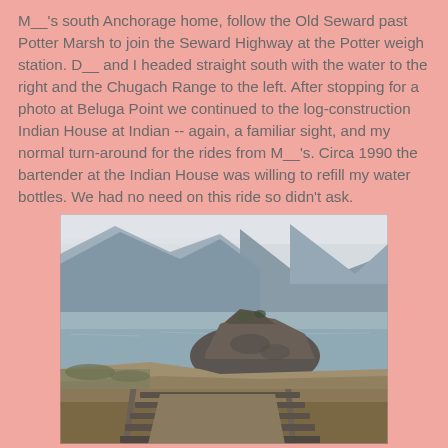M__'s south Anchorage home, follow the Old Seward past Potter Marsh to join the Seward Highway at the Potter weigh station.  D__ and I headed straight south with the water to the right and the Chugach Range to the left.  After stopping for a photo at Beluga Point we continued to the log-construction Indian House at Indian -- again, a familiar sight, and my normal turn-around for the rides from M__'s.  Circa 1990 the bartender at the Indian House was willing to refill my water bottles.  We had no need on this ride so didn't ask.
[Figure (photo): Photograph of Beluga Point showing railroad tracks in the foreground, a rocky outcropping in the middle ground, calm water, and mountains of the Kenai Peninsula across Turnagain Arm in the background under an overcast sky.]
Beluga Point, with the Kenai Peninsula across Turnagain Arm to the south.